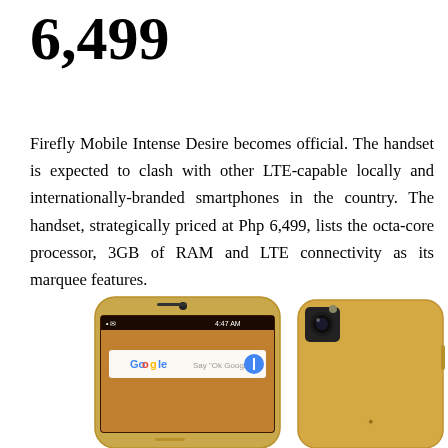6,499
Firefly Mobile Intense Desire becomes official. The handset is expected to clash with other LTE-capable locally and internationally-branded smartphones in the country. The handset, strategically priced at Php 6,499, lists the octa-core processor, 3GB of RAM and LTE connectivity as its marquee features.
[Figure (photo): Two Firefly Mobile Intense Desire smartphones shown side by side — front view (left) showing the Google search screen on a gold-colored phone, and back view (right) showing the camera and Firefly branding on a gold-colored phone.]